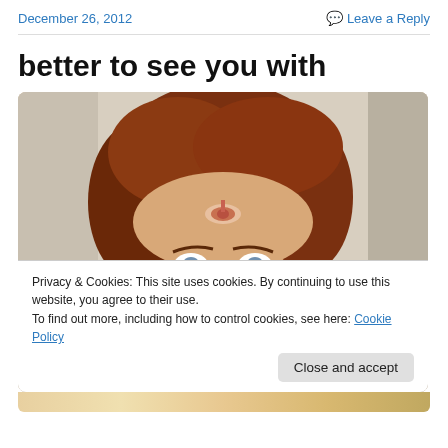December 26, 2012   Leave a Reply
better to see you with
[Figure (photo): Close-up photo of a young child with reddish-brown hair and blue eyes, appearing to have a drawn-on third eye on the forehead]
Privacy & Cookies: This site uses cookies. By continuing to use this website, you agree to their use.
To find out more, including how to control cookies, see here: Cookie Policy
Close and accept